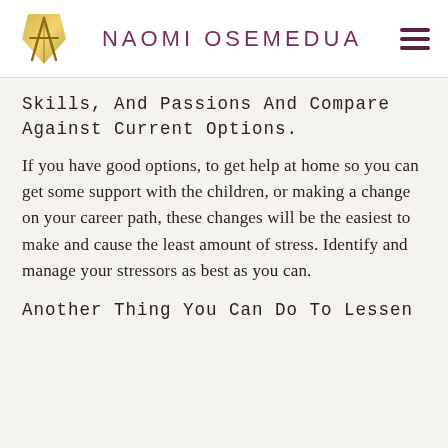NAOMI OSEMEDUA
Skills, And Passions And Compare Against Current Options.
If you have good options, to get help at home so you can get some support with the children, or making a change on your career path, these changes will be the easiest to make and cause the least amount of stress. Identify and manage your stressors as best as you can.
Another Thing You Can Do To Lessen